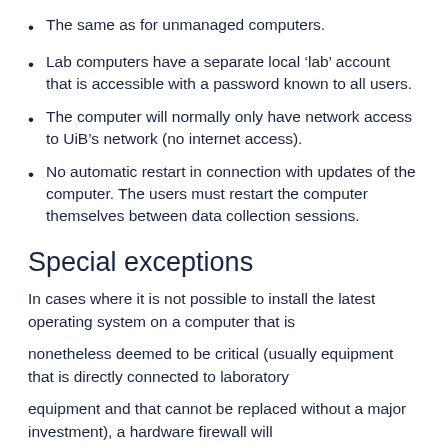The same as for unmanaged computers.
Lab computers have a separate local ‘lab’ account that is accessible with a password known to all users.
The computer will normally only have network access to UiB’s network (no internet access).
No automatic restart in connection with updates of the computer. The users must restart the computer themselves between data collection sessions.
Special exceptions
In cases where it is not possible to install the latest operating system on a computer that is
nonetheless deemed to be critical (usually equipment that is directly connected to laboratory
equipment and that cannot be replaced without a major investment), a hardware firewall will